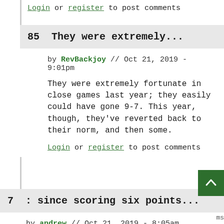Login or register to post comments
85  They were extremely...
by RevBackjoy // Oct 21, 2019 - 9:01pm
They were extremely fortunate in close games last year; they easily could have gone 9-7. This year, though, they've reverted back to their norm, and then some.
Login or register to post comments
7  : since scoring six points...
by andrew // Oct 21, 2019 - 8:05am